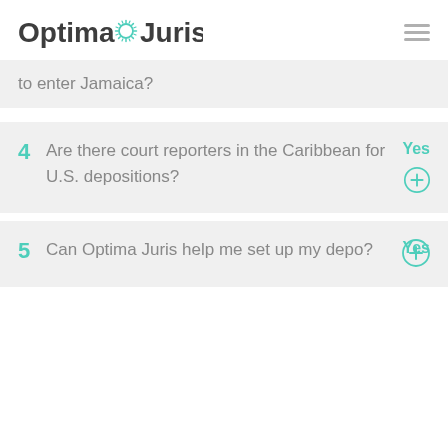Optima Juris.
to enter Jamaica?
4  Are there court reporters in the Caribbean for U.S. depositions?   Yes
5  Can Optima Juris help me set up my depo?   Yes